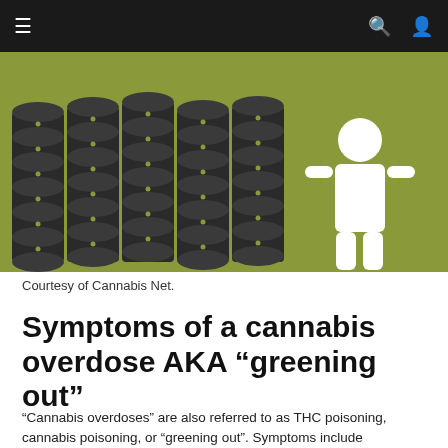[Figure (infographic): Infographic showing many stacked dark cannabis coin/puck shapes arranged in rows on an olive-green background, with a white human figure silhouette standing to the right. Courtesy of Cannabis Net.]
Courtesy of Cannabis Net.
Symptoms of a cannabis overdose AKA “greening out”
“Cannabis overdoses” are also referred to as THC poisoning, cannabis poisoning, or “greening out”. Symptoms include